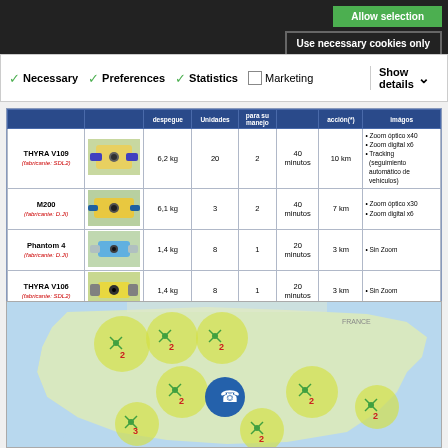Allow selection
Use necessary cookies only
✓ Necessary  ✓ Preferences  ✓ Statistics  ☐ Marketing  Show details
|  |  | despegue | Unidades | para su manejo |  | acción(*) | imágos |
| --- | --- | --- | --- | --- | --- | --- | --- |
| THYRA V109
(fabricante: SDL2) | [image] | 6,2 kg | 20 | 2 | 40 minutos | 10 km | • Zoom óptico x40
• Zoom digital x6
• Tracking (seguimiento automático de vehículos) |
| M200
(fabricante: D.JI) | [image] | 6,1 kg | 3 | 2 | 40 minutos | 7 km | • Zoom óptico x30
• Zoom digital x6 |
| Phantom 4
(fabricante: D.JI) | [image] | 1,4 kg | 8 | 1 | 20 minutos | 3 km | • Sin Zoom |
| THYRA V106
(fabricante: SDL2) | [image] | 1,4 kg | 8 | 1 | 20 minutos | 3 km | • Sin Zoom |
[Figure (map): Map of Spain showing drone coverage areas with yellow circle overlays and numbered drone icons indicating coverage zones across the country.]